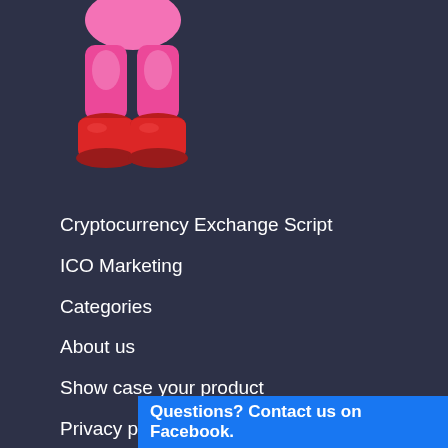[Figure (illustration): Partial illustration of an animated character's lower body in pink pants and red boots, cropped at the top]
Cryptocurrency Exchange Script
ICO Marketing
Categories
About us
Show case your product
Privacy policy
Blog
Premium Templates
Suggest a deal
Best NFT tokens 2022
Best Metaverse
Questions? Contact us on Facebook.